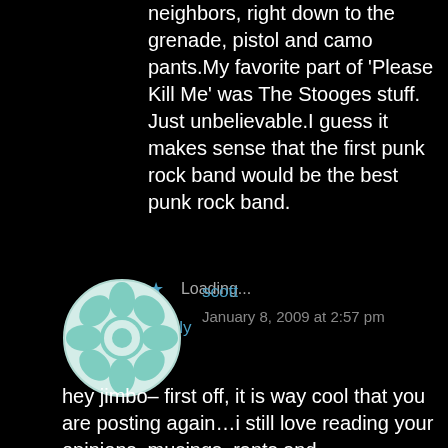neighbors, right down to the grenade, pistol and camo pants.My favorite part of 'Please Kill Me' was The Stooges stuff. Just unbelievable.I guess it makes sense that the first punk rock band would be the best punk rock band.
★ Loading...
Reply
[Figure (illustration): Round avatar icon with teal/green geometric flower pattern on white background]
scott
January 8, 2009 at 2:57 pm
hey jimbo– first off, it is way cool that you are posting again…i still love reading your opinions, musings, rants and all….besides i tend to agree with